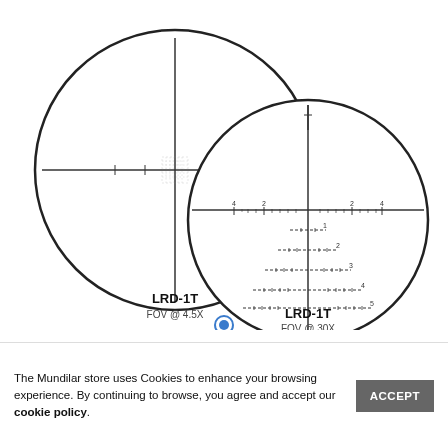[Figure (illustration): Two rifle scope reticle diagrams side by side. Left: LRD-1T reticle at FOV 4.5X showing simple crosshair with dotted center zone. Right: LRD-1T reticle at FOV 30X showing detailed Christmas tree / MRAD reticle with numbered hash marks and drop compensation lines.]
LRD-1T
FOV @ 4.5X
LRD-1T
FOV @ 30X
The Mundilar store uses Cookies to enhance your browsing experience. By continuing to browse, you agree and accept our cookie policy.